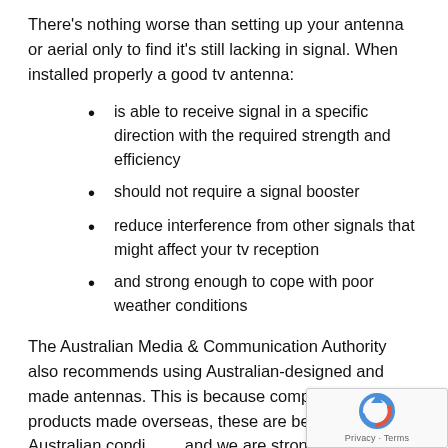There's nothing worse than setting up your antenna or aerial only to find it's still lacking in signal. When installed properly a good tv antenna:
is able to receive signal in a specific direction with the required strength and efficiency
should not require a signal booster
reduce interference from other signals that might affect your tv reception
and strong enough to cope with poor weather conditions
The Australian Media & Communication Authority also recommends using Australian-designed and made antennas. This is because compared to products made overseas, these are best suited to Australian condi and we are strong supporters of the Australian ind